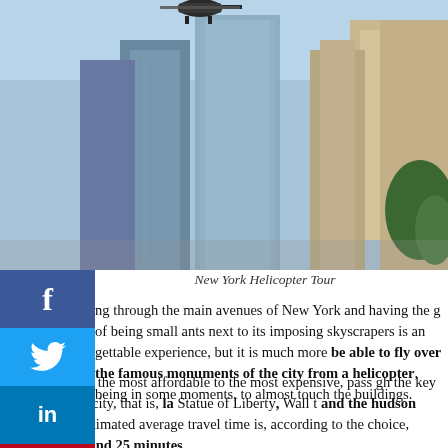[Figure (photo): Aerial photo of New York City skyline with skyscrapers and a helicopter visible at the top]
New York Helicopter Tour
ng through the main avenues of New York and having the g of being small ants next to its imposing skyscrapers is an gettable experience, but it is much more be able to fly over the famous monuments of the city from a helicopter, being in some moments, to almost touch the buildings.
ieraries, from the most affordable to the most expensive, pass gh the key points of the city, that is, la Statue of Liberty, Wall t and the hudson river. The estimated average travel time is, according to the choice, between 12 and 25 minutes.